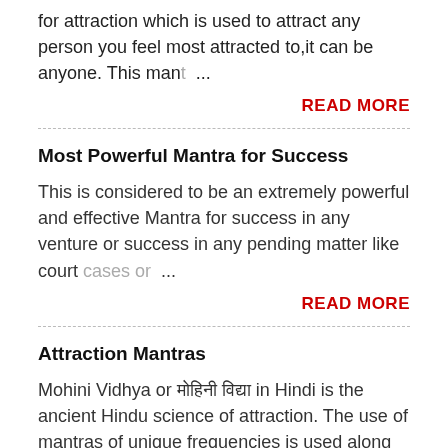for attraction which is used to attract any person you feel most attracted to,it can be anyone. This man …
READ MORE
Most Powerful Mantra for Success
This is considered to be an extremely powerful and effective Mantra for success in any venture or success in any pending matter like court cases or …
READ MORE
Attraction Mantras
Mohini Vidhya or मोहिनी विद्या in Hindi is the ancient Hindu science of attraction. The use of mantras of unique frequencies is used along with certain rit…